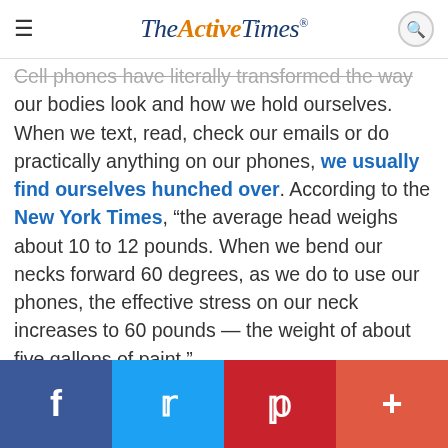TheActiveTimes
Cell phones have literally transformed the way our bodies look and how we hold ourselves. When we text, read, check our emails or do practically anything on our phones, we usually find ourselves hunched over. According to the New York Times, “the average head weighs about 10 to 12 pounds. When we bend our necks forward 60 degrees, as we do to use our phones, the effective stress on our neck increases to 60 pounds — the weight of about five gallons of paint.”